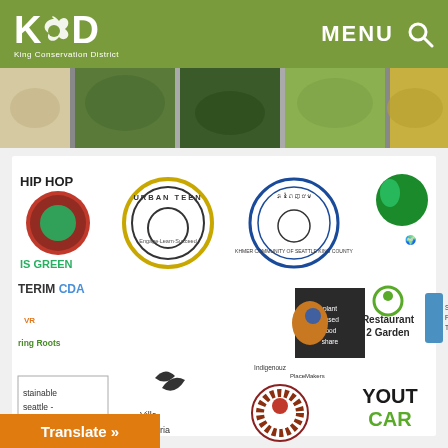KCD King Conservation District — MENU
[Figure (photo): Horizontal photo strip showing plants and nature scenes]
[Figure (infographic): Grid of partner organization logos including Hip Hop Is Green, Urban Teen, Khmer Community of Seattle King County, environmental globe logo, INTERIM CDA, Planting Roots, plant based food share, Restaurant 2 Garden, Somali Family Task Force, Sustainable Seattle, Villa Comunitaria, Indigenouz PlaceMakers, YouthCare]
Translate »